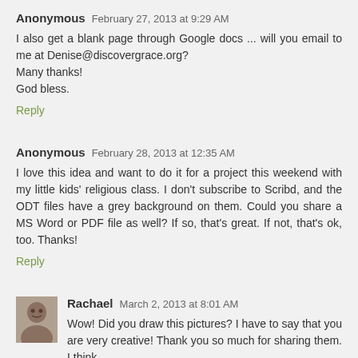Anonymous  February 27, 2013 at 9:29 AM
I also get a blank page through Google docs ... will you email to me at Denise@discovergrace.org?
Many thanks!
God bless.
Reply
Anonymous  February 28, 2013 at 12:35 AM
I love this idea and want to do it for a project this weekend with my little kids' religious class. I don't subscribe to Scribd, and the ODT files have a grey background on them. Could you share a MS Word or PDF file as well? If so, that's great. If not, that's ok, too. Thanks!
Reply
Rachael  March 2, 2013 at 8:01 AM
Wow! Did you draw this pictures? I have to say that you are very creative! Thank you so much for sharing them. I think